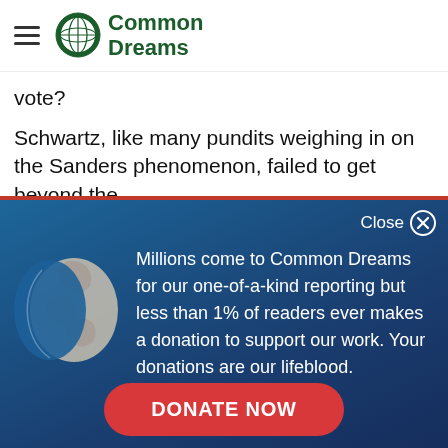Common Dreams
vote?
Schwartz, like many pundits weighing in on the Sanders phenomenon, failed to get beyond the
[Figure (illustration): Common Dreams donation modal overlay with globe icon, text about readers and donations, and a Donate Now button on a dark blue gradient background]
Millions come to Common Dreams for our one-of-a-kind reporting but less than 1% of readers ever makes a donation to support our work. Your donations are our lifeblood.
DONATE NOW